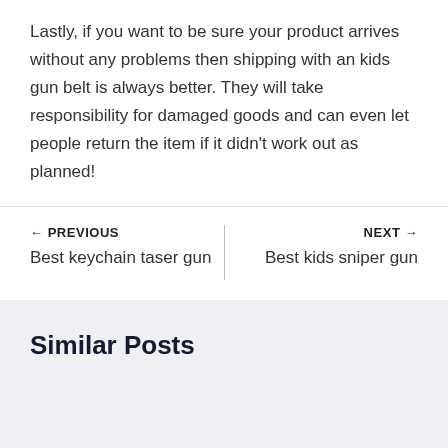Lastly, if you want to be sure your product arrives without any problems then shipping with an kids gun belt is always better. They will take responsibility for damaged goods and can even let people return the item if it didn't work out as planned!
← PREVIOUS
Best keychain taser gun
NEXT →
Best kids sniper gun
Similar Posts